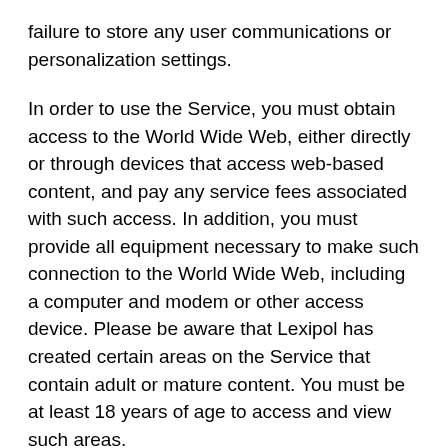failure to store any user communications or personalization settings.
In order to use the Service, you must obtain access to the World Wide Web, either directly or through devices that access web-based content, and pay any service fees associated with such access. In addition, you must provide all equipment necessary to make such connection to the World Wide Web, including a computer and modem or other access device. Please be aware that Lexipol has created certain areas on the Service that contain adult or mature content. You must be at least 18 years of age to access and view such areas.
YOUR REGISTRATION OBLIGATIONS
In consideration of use of the Service, you agree to: (a) provide true, accurate, current and complete